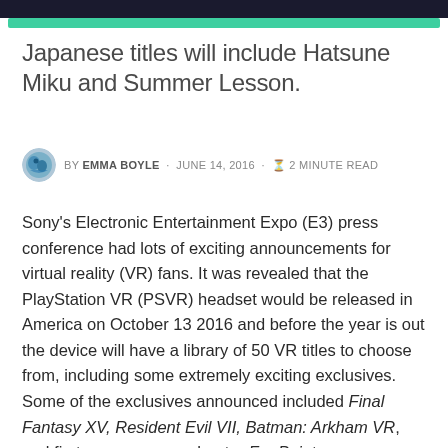Japanese titles will include Hatsune Miku and Summer Lesson.
BY EMMA BOYLE · JUNE 14, 2016 · 2 MINUTE READ
Sony's Electronic Entertainment Expo (E3) press conference had lots of exciting announcements for virtual reality (VR) fans. It was revealed that the PlayStation VR (PSVR) headset would be released in America on October 13 2016 and before the year is out the device will have a library of 50 VR titles to choose from, including some extremely exciting exclusives. Some of the exclusives announced included Final Fantasy XV, Resident Evil VII, Batman: Arkham VR, and first person space shooter Far Point.